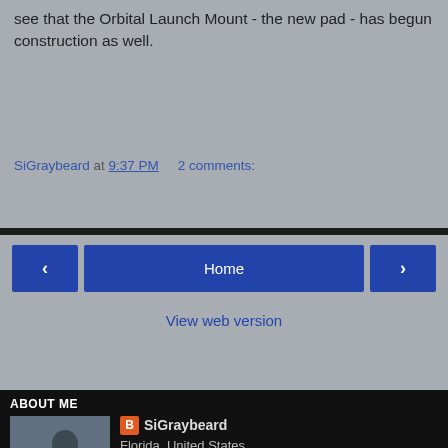see that the Orbital Launch Mount - the new pad - has begun construction as well.
SiGraybeard at 9:37 PM   2 comments:
[Figure (screenshot): Navigation bar with left arrow button, Home button, and right arrow button, plus View web version link]
ABOUT ME
SiGraybeard
Florida, United States
Retired radio engineer, follower of Christ, RF designer, mentor. Radio ham, home shop machinist, lapidary, silversmith, roadie cyclist, learning to be a rifleman, and home defender, - a guy with too many interests to keep track of.
View my complete profile